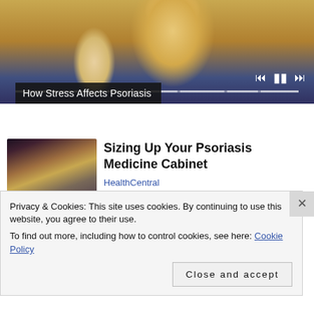[Figure (photo): Video player showing a person in a yellow sweater sitting on a couch, with playback controls (skip-back, pause, skip-forward) and a progress bar at the bottom. Title overlay reads 'How Stress Affects Psoriasis'.]
How Stress Affects Psoriasis
[Figure (photo): Thumbnail image of a woman shopping in a pharmacy/store aisle with colorful products on shelves.]
Sizing Up Your Psoriasis Medicine Cabinet
HealthCentral
Privacy & Cookies: This site uses cookies. By continuing to use this website, you agree to their use.
To find out more, including how to control cookies, see here: Cookie Policy
Close and accept